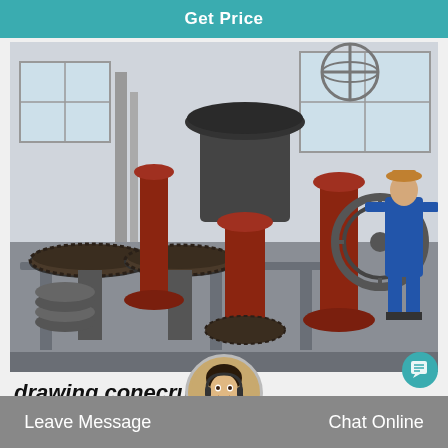Get Price
[Figure (photo): Factory floor showing cone crusher components including large gear assemblies, red-painted shaft components, a large cone crusher head assembly, and a worker in blue overalls working on machinery in an industrial workshop]
drawing conecrusher
Leave Message   Chat Online